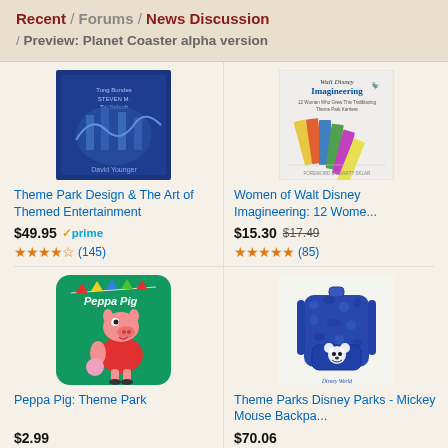Recent / Forums / News Discussion / Preview: Planet Coaster alpha version
[Figure (photo): Book cover: Theme Park Design & The Art of Themed Entertainment, blue illustrated cover]
Theme Park Design & The Art of Themed Entertainment
$49.95 prime (145 reviews, ~4.5 stars)
[Figure (photo): Book cover: Women of Walt Disney Imagineering, light colored cover with fan of color swatches]
Women of Walt Disney Imagineering: 12 Wome...
$15.30 $17.49 (85 reviews, ~5 stars)
[Figure (photo): App icon: Peppa Pig Theme Park, green background with Peppa Pig character]
Peppa Pig: Theme Park
$2.99
[Figure (photo): Product photo: Theme Parks Disney Parks Mickey Mouse blue patterned backpack]
Theme Parks Disney Parks - Mickey Mouse Backpa...
$70.06